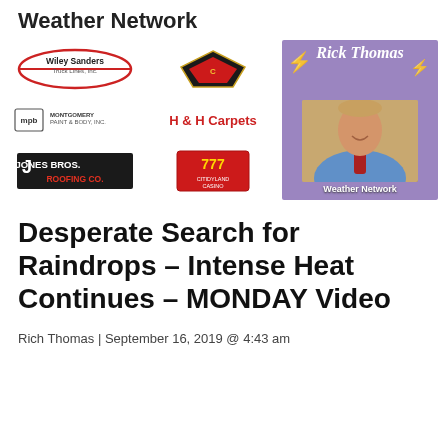Weather Network
[Figure (infographic): Sponsor logos banner: Wiley Sanders Truck Lines Inc, Chevrolet/Corvette logo, MPB Montgomery Paint & Body Inc, H & H Carpets, Jones Bros Roofing Co, 777 Citidyland Casino, alongside a photo of Rick Thomas with purple background and 'Weather Network' subtitle]
Desperate Search for Raindrops – Intense Heat Continues – MONDAY Video
Rich Thomas | September 16, 2019 @ 4:43 am